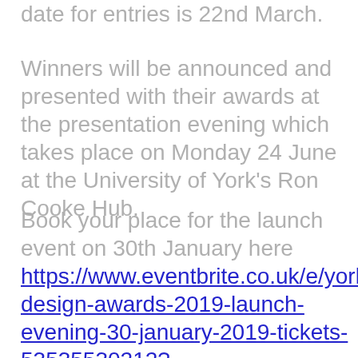date for entries is 22nd March.
Winners will be announced and presented with their awards at the presentation evening which takes place on Monday 24 June at the University of York's Ron Cooke Hub.
Book your place for the launch event on 30th January here https://www.eventbrite.co.uk/e/york-design-awards-2019-launch-evening-30-january-2019-tickets-53535530212?aff=odeimcmailchimp&mc_eid=e8796bf7c